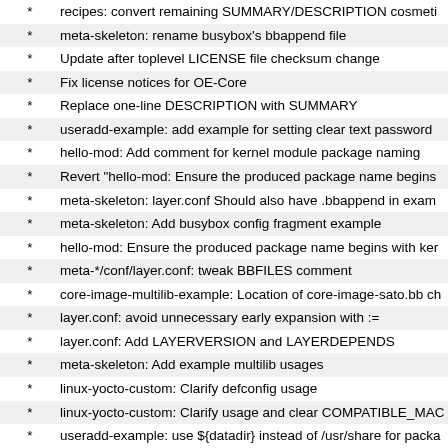recipes: convert remaining SUMMARY/DESCRIPTION cosmetic
meta-skeleton: rename busybox's bbappend file
Update after toplevel LICENSE file checksum change
Fix license notices for OE-Core
Replace one-line DESCRIPTION with SUMMARY
useradd-example: add example for setting clear text password
hello-mod: Add comment for kernel module package naming
Revert "hello-mod: Ensure the produced package name begins
meta-skeleton: layer.conf Should also have .bbappend in examp
meta-skeleton: Add busybox config fragment example
hello-mod: Ensure the produced package name begins with ker
meta-*/conf/layer.conf: tweak BBFILES comment
core-image-multilib-example: Location of core-image-sato.bb ch
layer.conf: avoid unnecessary early expansion with :=
layer.conf: Add LAYERVERSION and LAYERDEPENDS
meta-skeleton: Add example multilib usages
linux-yocto-custom: Clarify defconfig usage
linux-yocto-custom: Clarify usage and clear COMPATIBLE_MAC
useradd-example: use ${datadir} instead of /usr/share for packa
linux-yocto-custom: Remove linux-tools
meta-skeleton: add linux-yocto-custom reference recipe
hello-mod: Move hello-mod from meta to meta-skeleton
useradd-example.bb: update example documentation comment
useradd-example: example recipe for using inherit useradd
Add a skeleton for init scripts